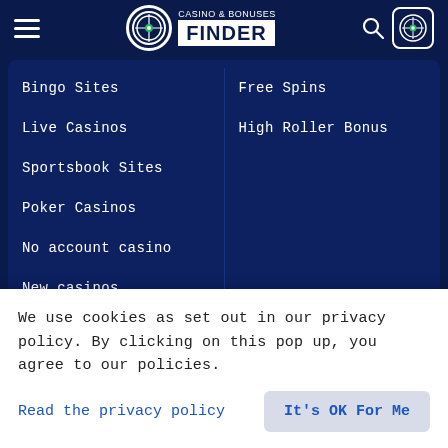Casino & Bonuses Finder
Bingo Sites
Live Casinos
Sportsbook Sites
Poker Casinos
No account casino
New casinos
Free Spins
High Roller Bonus
Free Slots Online
Country
We use cookies as set out in our privacy policy. By clicking on this pop up, you agree to our policies.
Read the privacy policy
It's OK For Me